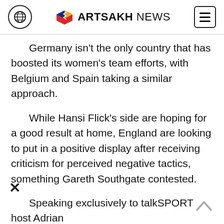ARTSAKH NEWS
Germany isn't the only country that has boosted its women's team efforts, with Belgium and Spain taking a similar approach.
While Hansi Flick's side are hoping for a good result at home, England are looking to put in a positive display after receiving criticism for perceived negative tactics, something Gareth Southgate contested.
Speaking exclusively to talkSPORT host Adrian